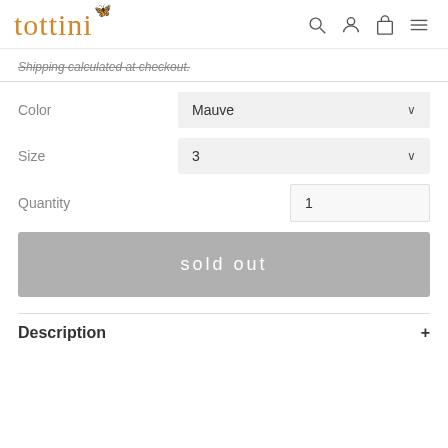[Figure (logo): Tottini logo with orange serif text and small grey butterfly icon]
Shipping calculated at checkout.
Color  Mauve
Size  3
Quantity  1
sold out
Description